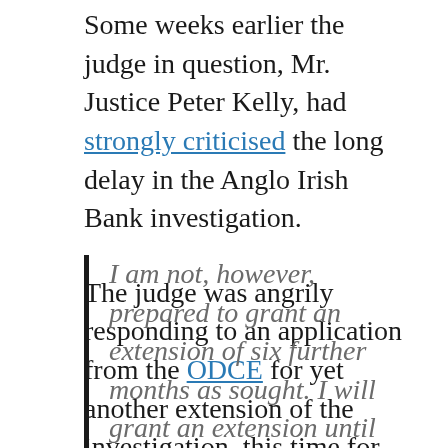Some weeks earlier the judge in question, Mr. Justice Peter Kelly, had strongly criticised the long delay in the Anglo Irish Bank investigation.
The judge was angrily responding to an application from the ODCE for yet another extension of the investigation, this time for six months.
In his judgement, judge Kelly did not mince his words: (This short judgement is worth reading in full).
I am not, however, prepared to grant an extension of six further months as sought. I will grant an extension until